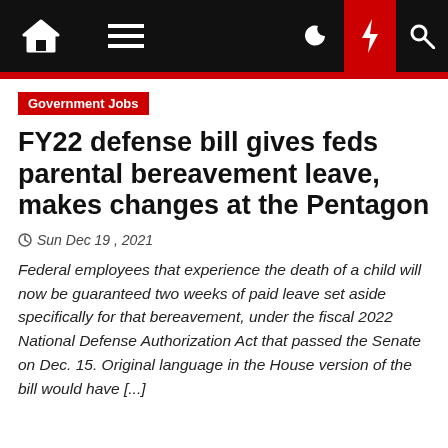Navigation bar with home, menu, dark mode, lightning/breaking news, and search icons
Government Jobs
FY22 defense bill gives feds parental bereavement leave, makes changes at the Pentagon
Sun Dec 19, 2021
Federal employees that experience the death of a child will now be guaranteed two weeks of paid leave set aside specifically for that bereavement, under the fiscal 2022 National Defense Authorization Act that passed the Senate on Dec. 15. Original language in the House version of the bill would have [...]